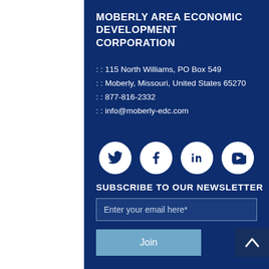MOBERLY AREA ECONOMIC DEVELOPMENT CORPORATION
: : 115 North Williams, PO Box 549
: : Moberly, Missouri, United States 65270
: : 877-816-2332
: : info@moberly-edc.com
[Figure (infographic): Social media icons: Twitter, Facebook, LinkedIn, YouTube — white circles on dark blue background]
SUBSCRIBE TO OUR NEWSLETTER
Enter your email here*
Join
Search...